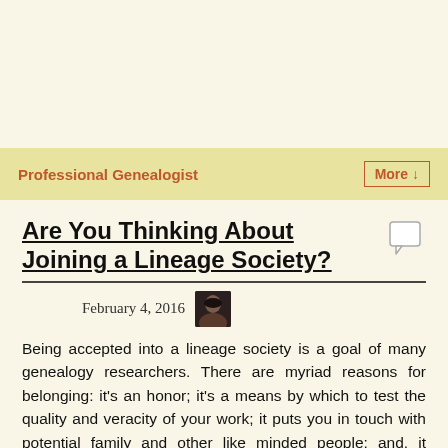Professional Genealogist
Are You Thinking About Joining a Lineage Society?
February 4, 2016
Being accepted into a lineage society is a goal of many genealogy researchers. There are myriad reasons for belonging: it's an honor; it's a means by which to test the quality and veracity of your work; it puts you in touch with potential family and other like minded people; and, it preserves your research for those who